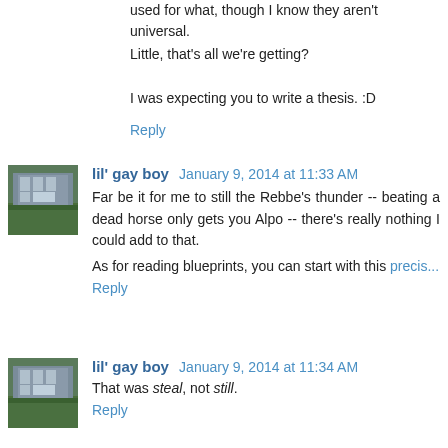used for what, though I know they aren't universal.
Little, that's all we're getting?
I was expecting you to write a thesis. :D
Reply
lil' gay boy January 9, 2014 at 11:33 AM
Far be it for me to still the Rebbe's thunder -- beating a dead horse only gets you Alpo -- there's really nothing I could add to that.
As for reading blueprints, you can start with this precis...
Reply
lil' gay boy January 9, 2014 at 11:34 AM
That was steal, not still.
Reply